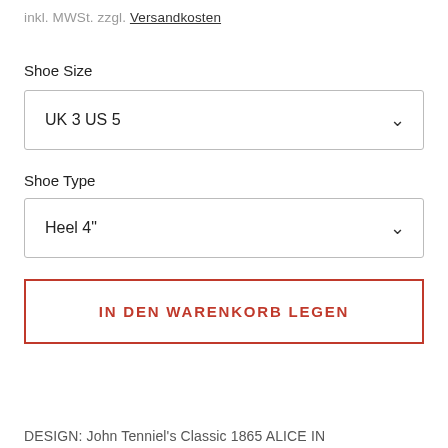inkl. MWSt. zzgl. Versandkosten
Shoe Size
UK 3 US 5
Shoe Type
Heel 4"
IN DEN WARENKORB LEGEN
DESIGN: John Tenniel's Classic 1865 ALICE IN